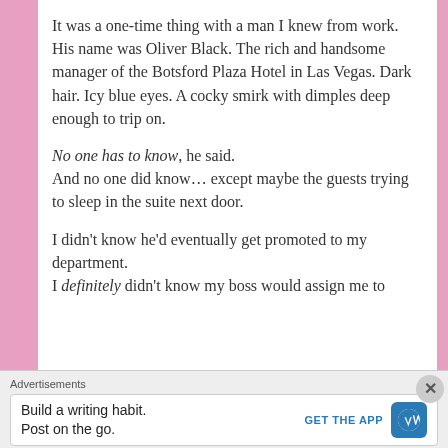It was a one-time thing with a man I knew from work.
His name was Oliver Black. The rich and handsome manager of the Botsford Plaza Hotel in Las Vegas. Dark hair. Icy blue eyes. A cocky smirk with dimples deep enough to trip on.
No one has to know, he said.
And no one did know… except maybe the guests trying to sleep in the suite next door.
I didn't know he'd eventually get promoted to my department.
I definitely didn't know my boss would assign me to
Advertisements
Build a writing habit. Post on the go. GET THE APP